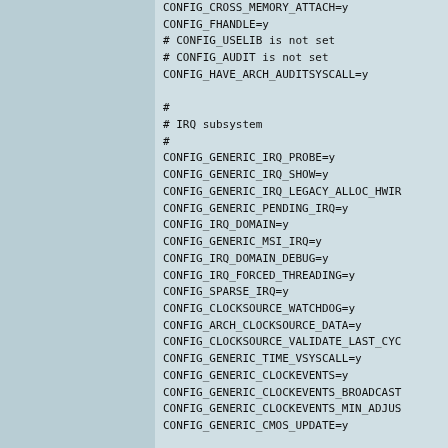CONFIG_CROSS_MEMORY_ATTACH=y
CONFIG_FHANDLE=y
# CONFIG_USELIB is not set
# CONFIG_AUDIT is not set
CONFIG_HAVE_ARCH_AUDITSYSCALL=y

#
# IRQ subsystem
#
CONFIG_GENERIC_IRQ_PROBE=y
CONFIG_GENERIC_IRQ_SHOW=y
CONFIG_GENERIC_IRQ_LEGACY_ALLOC_HWIR
CONFIG_GENERIC_PENDING_IRQ=y
CONFIG_IRQ_DOMAIN=y
CONFIG_GENERIC_MSI_IRQ=y
CONFIG_IRQ_DOMAIN_DEBUG=y
CONFIG_IRQ_FORCED_THREADING=y
CONFIG_SPARSE_IRQ=y
CONFIG_CLOCKSOURCE_WATCHDOG=y
CONFIG_ARCH_CLOCKSOURCE_DATA=y
CONFIG_CLOCKSOURCE_VALIDATE_LAST_CYC
CONFIG_GENERIC_TIME_VSYSCALL=y
CONFIG_GENERIC_CLOCKEVENTS=y
CONFIG_GENERIC_CLOCKEVENTS_BROADCAST
CONFIG_GENERIC_CLOCKEVENTS_MIN_ADJUS
CONFIG_GENERIC_CMOS_UPDATE=y

#
# Timers subsystem
#
CONFIG_TICK_ONESHOT=y